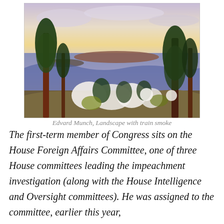[Figure (illustration): Edvard Munch painting 'Landscape with train smoke' — colorful expressionist landscape with trees, water, sky with clouds, and white smoke shapes in the foreground]
Edvard Munch, Landscape with train smoke
The first-term member of Congress sits on the House Foreign Affairs Committee, one of three House committees leading the impeachment investigation (along with the House Intelligence and Oversight committees). He was assigned to the committee, earlier this year,